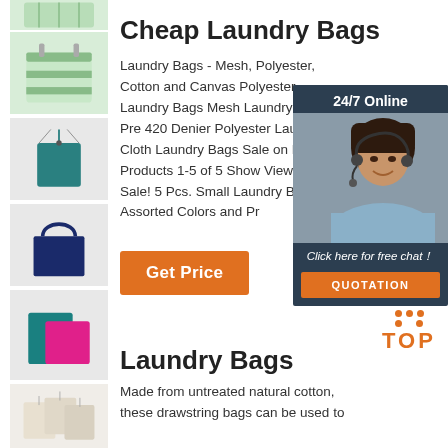[Figure (photo): Green mesh/striped laundry bag thumbnail]
[Figure (photo): Teal drawstring bag thumbnail]
[Figure (photo): Navy blue tote bag thumbnail]
[Figure (photo): Teal and pink flat pouches thumbnail]
[Figure (photo): Natural cotton drawstring bags thumbnail]
Cheap Laundry Bags
Laundry Bags - Mesh, Polyester, Cotton and Canvas Polyester Laundry Bags Mesh Laundry Bags Pre 420 Denier Polyester Laundry Cloth Laundry Bags Sale on Bags. Products 1-5 of 5 Show View. Sale! 5 Pcs. Small Laundry Bags Assorted Colors and Pr
[Figure (infographic): 24/7 Online chat widget with woman wearing headset, Click here for free chat!, QUOTATION button]
Get Price
[Figure (logo): TOP button with orange dots]
Laundry Bags
Made from untreated natural cotton, these drawstring bags can be used to